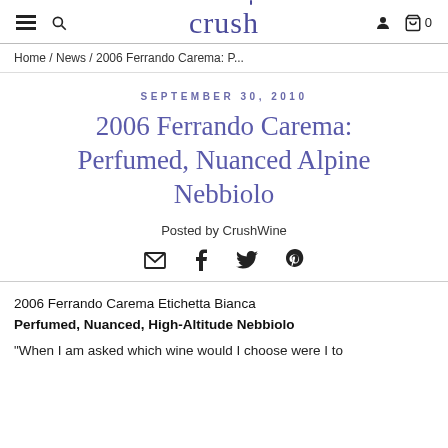crush — navigation header with hamburger menu, search, user icon, bag icon (0)
Home / News / 2006 Ferrando Carema: P...
SEPTEMBER 30, 2010
2006 Ferrando Carema: Perfumed, Nuanced Alpine Nebbiolo
Posted by CrushWine
2006 Ferrando Carema Etichetta Bianca Perfumed, Nuanced, High-Altitude Nebbiolo
"When I am asked which wine would I choose were I to